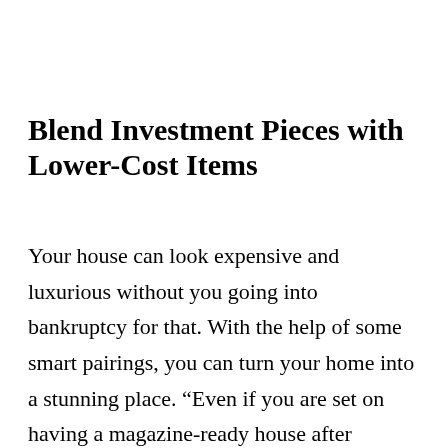Blend Investment Pieces with Lower-Cost Items
Your house can look expensive and luxurious without you going into bankruptcy for that. With the help of some smart pairings, you can turn your home into a stunning place. “Even if you are set on having a magazine-ready house after moving, it doesn’t have to be cost-prohibitive to decorate,” Harris said. “Blend investment pieces, such as a